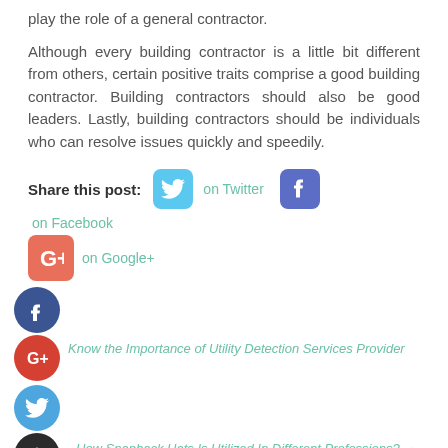play the role of a general contractor.
Although every building contractor is a little bit different from others, certain positive traits comprise a good building contractor. Building contractors should also be good leaders. Lastly, building contractors should be individuals who can resolve issues quickly and speedily.
Share this post: on Twitter on Facebook on Google+
[Figure (infographic): Social media sharing icons: Facebook circle, Google+ circle, Twitter circle, and a dark circle with plus sign]
Know the Importance of Utility Detection Services Provider
How Snapback Hats Is Utilized In Different Professions? →
Search